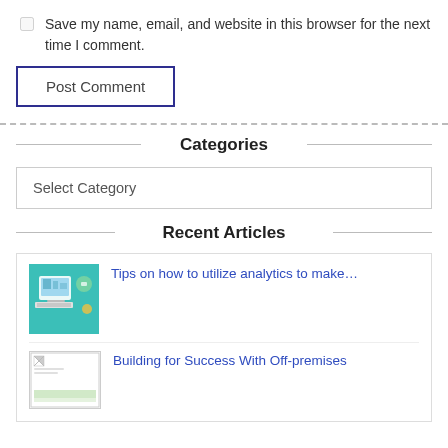Save my name, email, and website in this browser for the next time I comment.
Post Comment
Categories
Select Category
Recent Articles
Tips on how to utilize analytics to make…
Building for Success With Off-premises